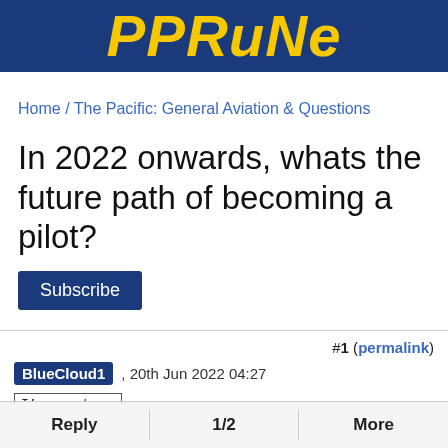PPRuNe
Home / The Pacific: General Aviation & Questions
In 2022 onwards, whats the future path of becoming a pilot?
Subscribe
#1 (permalink)
BlueCloud1 , 20th Jun 2022 04:27
[Figure (illustration): I'm new here sign with stick figure and smiley emoji]
BlueCloud1
Reply | 1/2 | More